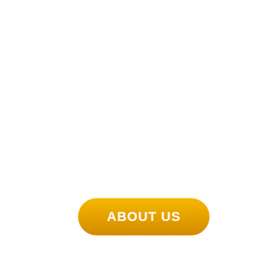[Figure (other): A pill-shaped button with a gold/yellow gradient background containing the text 'ABOUT US' in white capital letters]